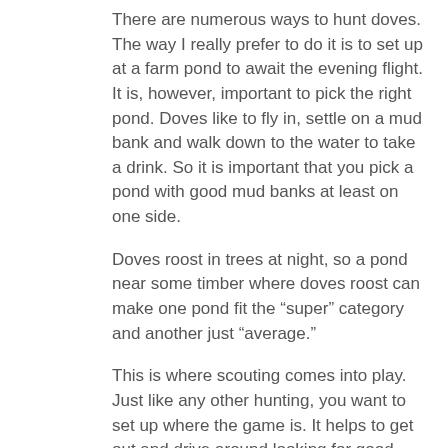There are numerous ways to hunt doves. The way I really prefer to do it is to set up at a farm pond to await the evening flight. It is, however, important to pick the right pond. Doves like to fly in, settle on a mud bank and walk down to the water to take a drink. So it is important that you pick a pond with good mud banks at least on one side.
Doves roost in trees at night, so a pond near some timber where doves roost can make one pond fit the “super” category and another just “average.”
This is where scouting comes into play. Just like any other hunting, you want to set up where the game is. It helps to get out and drive around looking for good places to set up. Take a pair of binoculars because they can help you spot doves.
Most landowners will let you hunt doves, but explain your tactics to them so they know what to expect.
Iowa has lots of public shooting areas that have good flights of doves, especially those that have food plots